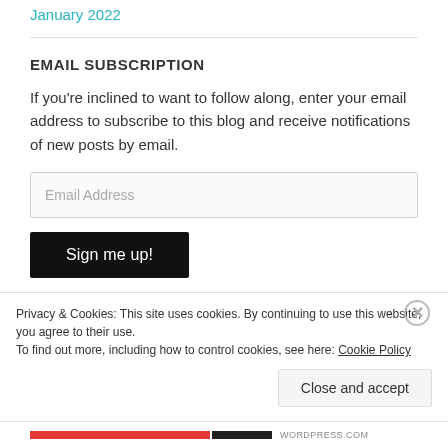January 2022
EMAIL SUBSCRIPTION
If you're inclined to want to follow along, enter your email address to subscribe to this blog and receive notifications of new posts by email.
Email Address
Sign me up!
Privacy & Cookies: This site uses cookies. By continuing to use this website, you agree to their use.
To find out more, including how to control cookies, see here: Cookie Policy
Close and accept